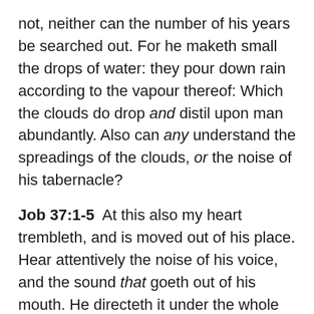not, neither can the number of his years be searched out. For he maketh small the drops of water: they pour down rain according to the vapour thereof: Which the clouds do drop and distil upon man abundantly. Also can any understand the spreadings of the clouds, or the noise of his tabernacle?
Job 37:1-5  At this also my heart trembleth, and is moved out of his place. Hear attentively the noise of his voice, and the sound that goeth out of his mouth. He directeth it under the whole heaven, and his lightning unto the ends of the earth. After it a voice roareth: he thundereth with the voice of his excellency; and he will not stay them when his voice is heard. God thundereth marvellously with his voice; great things doeth he, which we cannot comprehend.